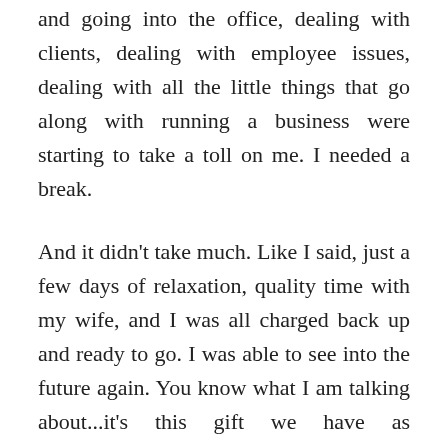and going into the office, dealing with clients, dealing with employee issues, dealing with all the little things that go along with running a business were starting to take a toll on me. I needed a break.
And it didn't take much. Like I said, just a few days of relaxation, quality time with my wife, and I was all charged back up and ready to go. I was able to see into the future again. You know what I am talking about...it's this gift we have as entrepreneurs that lets us see the world as it should be. It's one of the things that keeps us going, keeps us excited. That was starting to fade a bit in my life from being in the trenches too long. I needed this break to clear my